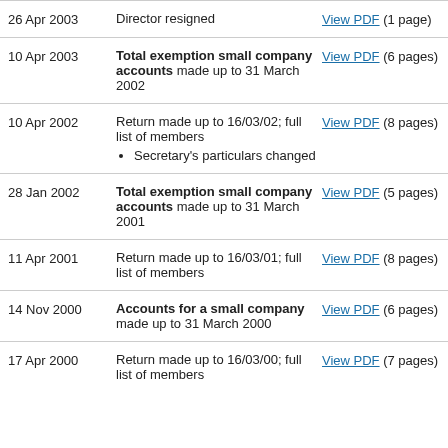| Date | Description | Link |
| --- | --- | --- |
| 26 Apr 2003 | Director resigned | View PDF (1 page) |
| 10 Apr 2003 | Total exemption small company accounts made up to 31 March 2002 | View PDF (6 pages) |
| 10 Apr 2002 | Return made up to 16/03/02; full list of members
• Secretary's particulars changed | View PDF (8 pages) |
| 28 Jan 2002 | Total exemption small company accounts made up to 31 March 2001 | View PDF (5 pages) |
| 11 Apr 2001 | Return made up to 16/03/01; full list of members | View PDF (8 pages) |
| 14 Nov 2000 | Accounts for a small company made up to 31 March 2000 | View PDF (6 pages) |
| 17 Apr 2000 | Return made up to 16/03/00; full list of members | View PDF (7 pages) |